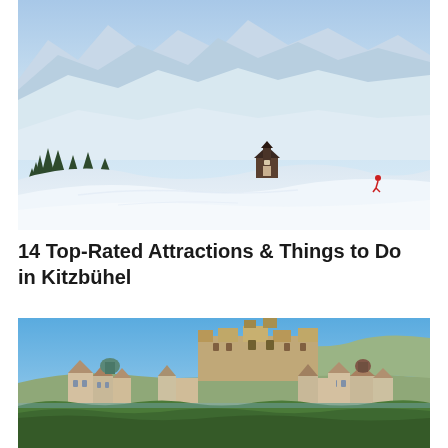[Figure (photo): Aerial winter mountain landscape with snow-covered slopes, pine trees, a small chapel/church building on the slope, ski runs visible, mountain peaks in background — Kitzbühel ski resort area]
14 Top-Rated Attractions & Things to Do in Kitzbühel
[Figure (photo): Panoramic view of Salzburg old town with Hohensalzburg fortress on the hill, baroque church domes, historic buildings along the river, blue sky, green trees in foreground]